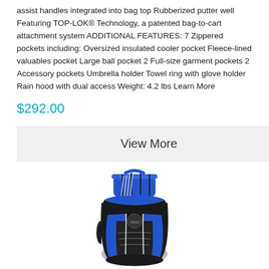assist handles integrated into bag top Rubberized putter well Featuring TOP-LOK® Technology, a patented bag-to-cart attachment system ADDITIONAL FEATURES: 7 Zippered pockets including: Oversized insulated cooler pocket Fleece-lined valuables pocket Large ball pocket 2 Full-size garment pockets 2 Accessory pockets Umbrella holder Towel ring with glove holder Rain hood with dual access Weight: 4.2 lbs Learn More
$292.00
View More
[Figure (photo): A black and blue golf cart bag (OGIO brand) shown from the front, featuring multiple pockets, club dividers at the top in blue, and a white trim detail. The bag has zippered pockets and blue accent panels.]